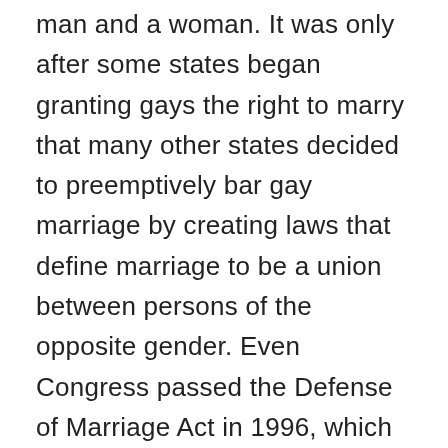man and a woman. It was only after some states began granting gays the right to marry that many other states decided to preemptively bar gay marriage by creating laws that define marriage to be a union between persons of the opposite gender. Even Congress passed the Defense of Marriage Act in 1996, which defined marriage as a legal union that is exclusively between one man and one woman. The moral question is: is it